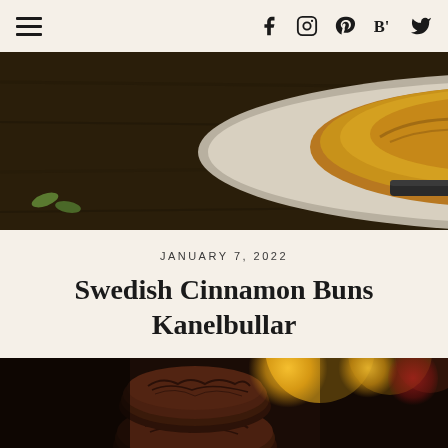Navigation menu and social icons: Facebook, Instagram, Pinterest, Bloglovin, Twitter
[Figure (photo): Close-up photo of a Swedish cinnamon bun on a plate with sugar crystals and cardamom pods, on a dark wooden surface]
JANUARY 7, 2022
Swedish Cinnamon Buns Kanelbullar
[Figure (photo): Two dark chocolate crinkle cookies stacked on top of each other with bokeh yellow and red lights in the background]